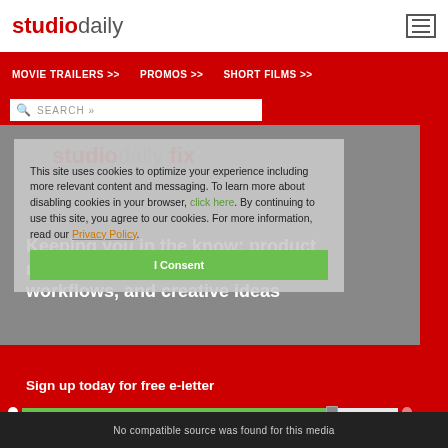studiodaily
MOVIE TRAILERS >> PROMOS >> SHORT FILMS >>
SEARCH »
[Figure (screenshot): StudioDaily website screenshot showing cookie consent overlay on top of a promotional image. The promo features the studiodaily fix logo with tagline 'Keeping you in the know: product news and reviews, emerging workflows, and creative ideas'. Below is a sign-up section. A cookie notice overlay reads: 'This site uses cookies to optimize your experience including more relevant content and messaging. To learn more about disabling cookies in your browser, click here. By continuing to use this site, you agree to our cookies. For more information, read our Privacy Policy.' with an 'I Consent' button.]
This site uses cookies to optimize your experience including more relevant content and messaging. To learn more about disabling cookies in your browser, click here. By continuing to use this site, you agree to our cookies. For more information, read our Privacy Policy.
Keeping you in the know: product news and reviews, emerging workflows, and creative ideas
Sign up today for free e-letter
I Consent
No compatible source was found for this media